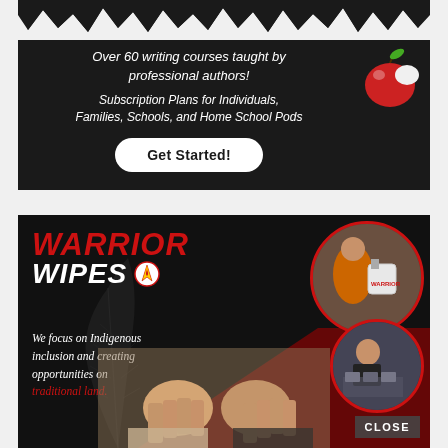[Figure (infographic): Writing courses advertisement on dark chalkboard background with torn top edge, apple illustration, 'Get Started!' button. Text: 'Over 60 writing courses taught by professional authors! Subscription Plans for Individuals, Families, Schools, and Home School Pods']
[Figure (infographic): Warrior Wipes advertisement on dark background with circular photos of workers, fist bump image, feather graphic. Red and white text: 'WARRIOR WIPES' with logo. Italic text: 'We focus on Indigenous inclusion and creating opportunities on traditional land.' CLOSE button bottom right.]